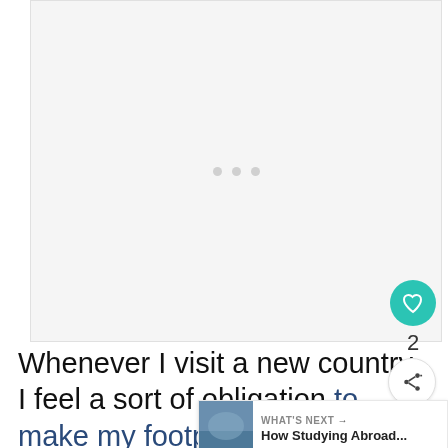[Figure (other): A large light gray placeholder image area with three small gray loading dots in the center, indicating an image that has not loaded yet.]
Whenever I visit a new country, I feel a sort of obligation to make my footprint there and to give my money to organizations and